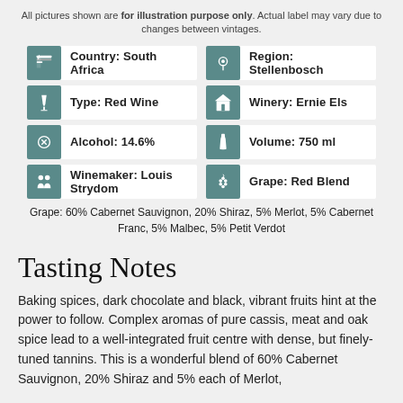All pictures shown are for illustration purpose only. Actual label may vary due to changes between vintages.
[Figure (infographic): Wine product info grid with icons: Country: South Africa, Region: Stellenbosch, Type: Red Wine, Winery: Ernie Els, Alcohol: 14.6%, Volume: 750 ml, Winemaker: Louis Strydom, Grape: Red Blend]
Grape: 60% Cabernet Sauvignon, 20% Shiraz, 5% Merlot, 5% Cabernet Franc, 5% Malbec, 5% Petit Verdot
Tasting Notes
Baking spices, dark chocolate and black, vibrant fruits hint at the power to follow. Complex aromas of pure cassis, meat and oak spice lead to a well-integrated fruit centre with dense, but finely-tuned tannins. This is a wonderful blend of 60% Cabernet Sauvignon, 20% Shiraz and 5% each of Merlot,